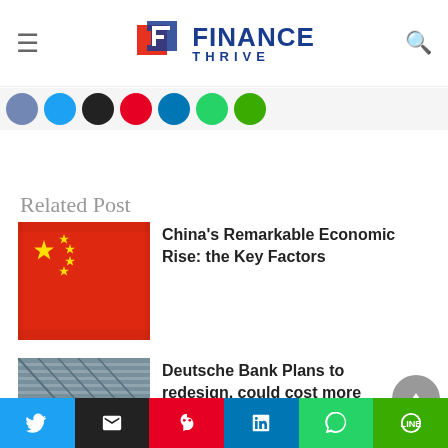Finance Thrive
[Figure (illustration): Social media share buttons row (partially visible circles: Facebook, Twitter, black circle, red circle, dark blue circle, green circle, dark green circle)]
Related Post
[Figure (photo): China flag - red background with yellow stars]
China's Remarkable Economic Rise: the Key Factors
[Figure (photo): Deutsche Bank building exterior with Deutsche Bank sign]
Deutsche Bank Plans to redesign, could cost more than 5.6 billion Euros
Twitter | Email | Pinterest | LinkedIn | WhatsApp | LINE social share buttons